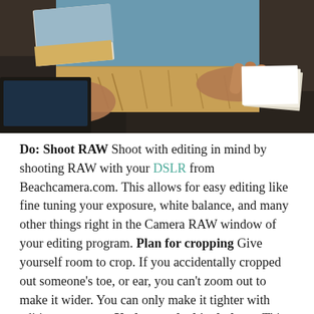[Figure (photo): Hands holding printed photographs over a desk with a laptop and papers visible in the background]
Do: Shoot RAW Shoot with editing in mind by shooting RAW with your DSLR from Beachcamera.com. This allows for easy editing like fine tuning your exposure, white balance, and many other things right in the Camera RAW window of your editing program. Plan for cropping Give yourself room to crop. If you accidentally cropped out someone's toe, or ear, you can't zoom out to make it wider. You can only make it tighter with editing programs. Understand white balance This may be the single most important thing to know how to adjust when editing. White balance can make or break your photo if it's not correct. Setting white balance can be done in camera, but if it does need to be adjusted, you can easily do this during post-processing as long as